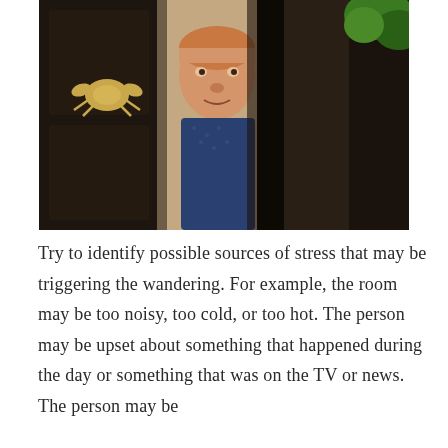[Figure (photo): An elderly man peering around a dark wooden door, with a brass crab ornament on the door and green foliage visible in the upper right corner.]
Try to identify possible sources of stress that may be triggering the wandering. For example, the room may be too noisy, too cold, or too hot. The person may be upset about something that happened during the day or something that was on the TV or news. The person may be